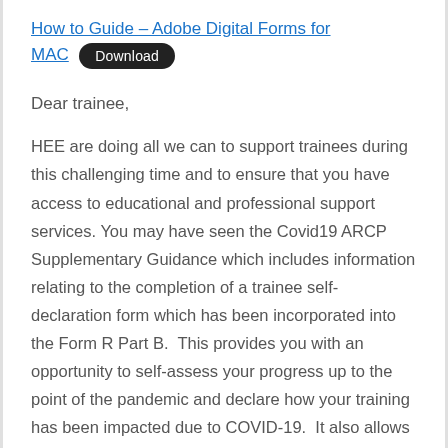How to Guide – Adobe Digital Forms for MAC [Download]
Dear trainee,
HEE are doing all we can to support trainees during this challenging time and to ensure that you have access to educational and professional support services. You may have seen the Covid19 ARCP Supplementary Guidance which includes information relating to the completion of a trainee self-declaration form which has been incorporated into the Form R Part B.  This provides you with an opportunity to self-assess your progress up to the point of the pandemic and declare how your training has been impacted due to COVID-19.  It also allows you to flag if you have concerns about your training or wellbeing, however, we would remind you that you can access our Professional Support and Wellbeing service at any time